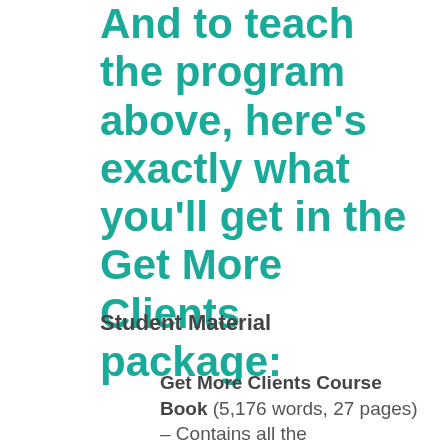And to teach the program above, here's exactly what you'll get in the Get More Clients package:
Student Material
Get More Clients Course Book (5,176 words, 27 pages) – Contains all the